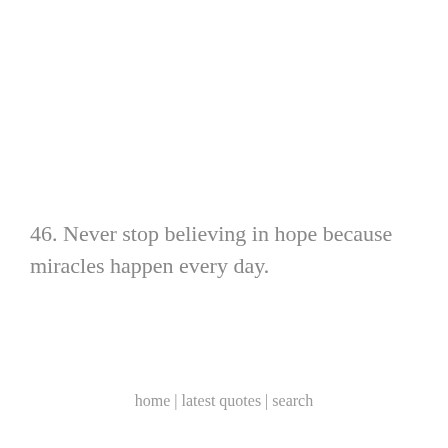46. Never stop believing in hope because miracles happen every day.
home | latest quotes | search